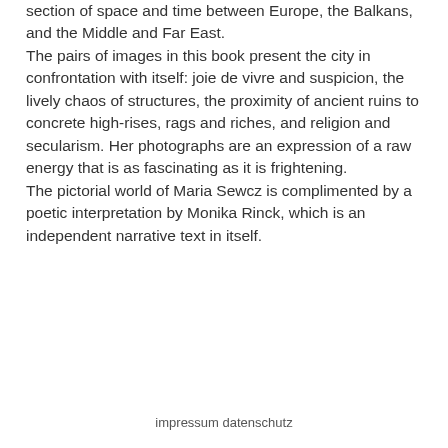section of space and time between Europe, the Balkans, and the Middle and Far East. The pairs of images in this book present the city in confrontation with itself: joie de vivre and suspicion, the lively chaos of structures, the proximity of ancient ruins to concrete high-rises, rags and riches, and religion and secularism. Her photographs are an expression of a raw energy that is as fascinating as it is frightening. The pictorial world of Maria Sewcz is complimented by a poetic interpretation by Monika Rinck, which is an independent narrative text in itself.
impressum datenschutz